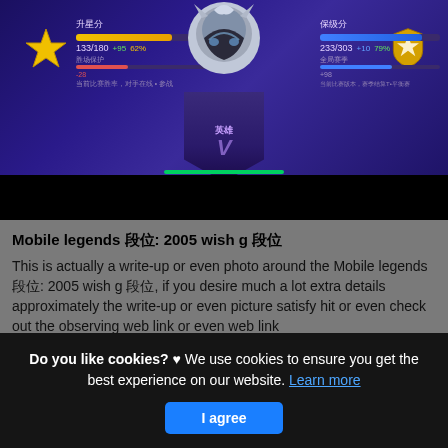[Figure (screenshot): Mobile Legends game screenshot showing rank progression UI with left star panel showing 升星分 score 133/180 and right gold shield showing 保级分 score 233/303, with a central rank emblem (V tier badge) on a purple/blue gradient background]
Mobile legends 段位: 2005 wish g 段位
This is actually a write-up or even photo around the Mobile legends 段位: 2005 wish g 段位, if you desire much a lot extra details approximately the write-up or even picture satisfy hit or even check out the observing web link or even web link
Do you like cookies? ♥ We use cookies to ensure you get the best experience on our website. Learn more
I agree